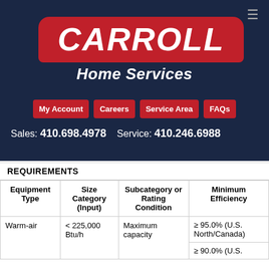[Figure (logo): Carroll Home Services logo — red pill-shaped banner with CARROLL in white italic bold text, and 'Home Services' in white italic below]
My Account   Careers   Service Area   FAQs
Sales: 410.698.4978   Service: 410.246.6988
| Equipment Type | Size Category (Input) | Subcategory or Rating Condition | Minimum Efficiency |
| --- | --- | --- | --- |
| Warm-air | < 225,000 Btu/h | Maximum capacity | ≥ 95.0% (U.S. North/Canada)
≥ 90.0% (U.S. |